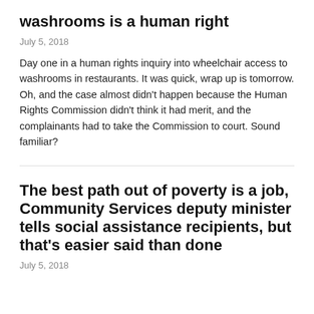washrooms is a human right
July 5, 2018
Day one in a human rights inquiry into wheelchair access to washrooms in restaurants. It was quick, wrap up is tomorrow. Oh, and the case almost didn't happen because the Human Rights Commission didn't think it had merit, and the complainants had to take the Commission to court. Sound familiar?
The best path out of poverty is a job, Community Services deputy minister tells social assistance recipients, but that's easier said than done
July 5, 2018